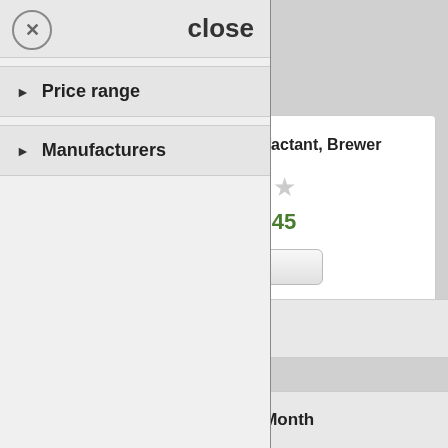close
Price range
Manufacturers
Cide-Kick Non-ionic Surfactant, Brewer
From $11.45
Buy Now
Subscribe
Products of the Month